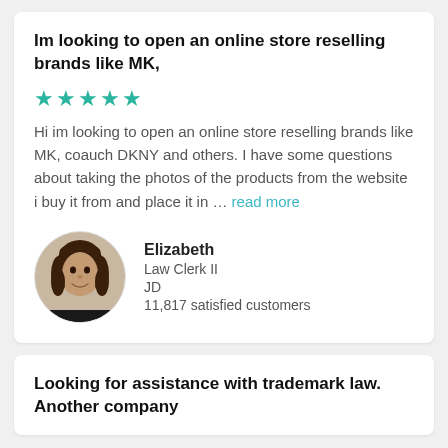Im looking to open an online store reselling brands like MK,
★★★★★
Hi im looking to open an online store reselling brands like MK, coauch DKNY and others. I have some questions about taking the photos of the products from the website i buy it from and place it in … read more
Elizabeth
Law Clerk II
JD
11,817 satisfied customers
Looking for assistance with trademark law. Another company